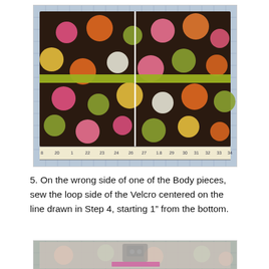[Figure (photo): Dark brown fabric with colorful polka dots (pink, orange, green, yellow, white) laid on a blue grid cutting mat. A yellow-green ribbon/tape runs horizontally across the fabric. A white vertical line is drawn down the center of the fabric. A ruler is visible along the bottom edge showing measurements from approximately 20 to 34.]
5. On the wrong side of one of the Body pieces, sew the loop side of the Velcro centered on the line drawn in Step 4, starting 1” from the bottom.
[Figure (photo): Partial view of the wrong side of the polka dot fabric on a cutting mat, showing a sewing machine presser foot and Velcro being sewn along a drawn line.]